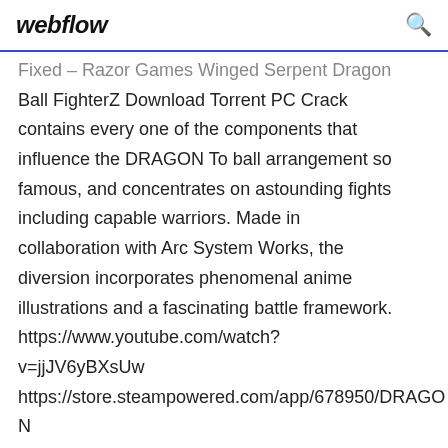webflow
Fixed – Razor Games Winged Serpent Dragon Ball FighterZ Download Torrent PC Crack contains every one of the components that influence the DRAGON To ball arrangement so famous, and concentrates on astounding fights including capable warriors. Made in collaboration with Arc System Works, the diversion incorporates phenomenal anime illustrations and a fascinating battle framework. https://www.youtube.com/watch?v=jjJV6yBXsUw https://store.steampowered.com/app/678950/DRAGO https://www.game3rb.com/dragon-ball-fighterz-multiplayer-fitgirl-repack/ https://www.game3rb.com/dragon-ball-